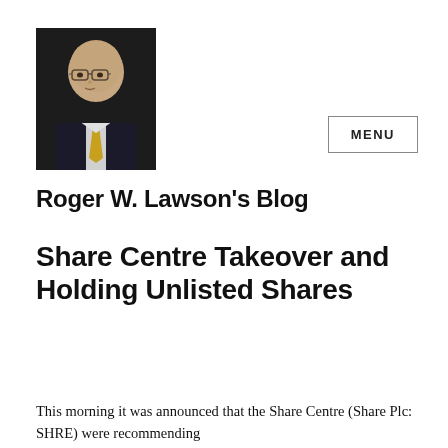[Figure (photo): Professional headshot of a bald man wearing glasses and a suit with a gold/yellow tie, dark background]
Roger W. Lawson's Blog
Share Centre Takeover and Holding Unlisted Shares
This morning it was announced that the Share Centre (Share Plc: SHRE) were recommending